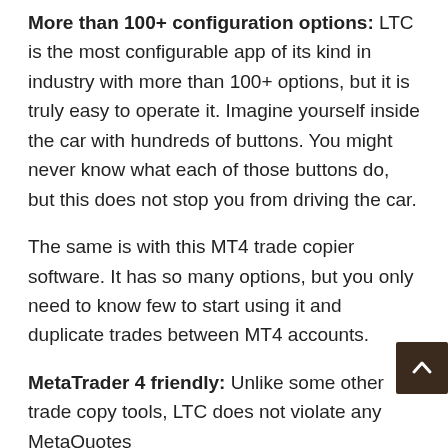More than 100+ configuration options: LTC is the most configurable app of its kind in industry with more than 100+ options, but it is truly easy to operate it. Imagine yourself inside the car with hundreds of buttons. You might never know what each of those buttons do, but this does not stop you from driving the car.
The same is with this MT4 trade copier software. It has so many options, but you only need to know few to start using it and duplicate trades between MT4 accounts.
MetaTrader 4 friendly: Unlike some other trade copy tools, LTC does not violate any MetaQuotes